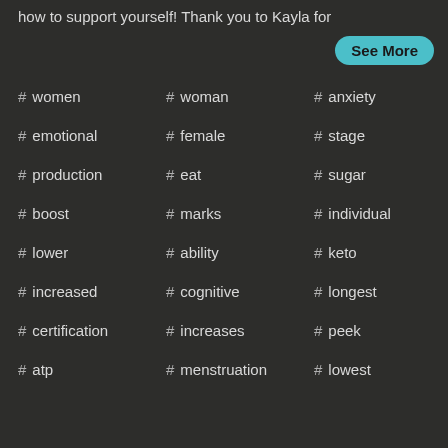how to support yourself!   Thank you to Kayla for
See More
# women
# woman
# anxiety
# emotional
# female
# stage
# production
# eat
# sugar
# boost
# marks
# individual
# lower
# ability
# keto
# increased
# cognitive
# longest
# certification
# increases
# peek
# atp
# menstruation
# lowest